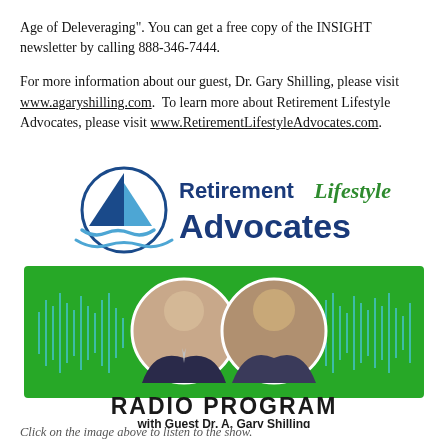Age of Deleveraging". You can get a free copy of the INSIGHT newsletter by calling 888-346-7444.
For more information about our guest, Dr. Gary Shilling, please visit www.agaryshilling.com.  To learn more about Retirement Lifestyle Advocates, please visit www.RetirementLifestyleAdvocates.com.
[Figure (logo): Retirement Lifestyle Advocates logo with sailboat icon, blue text 'Retirement' and 'Advocates', and green cursive 'Lifestyle'. Below is a green banner with two circular headshot photos of men, sound wave graphics, and text 'RADIO PROGRAM with Guest Dr. A. Gary Shilling'.]
Click on the image above to listen to the show.